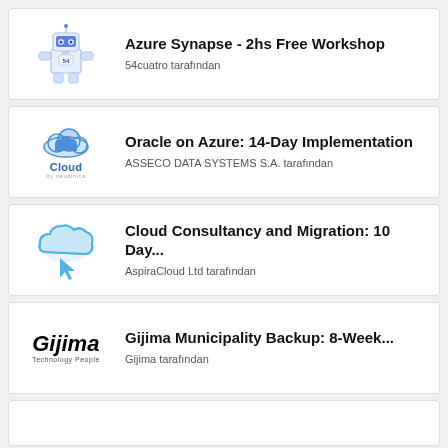Azure Synapse - 2hs Free Workshop
54cuatro tarafından
Oracle on Azure: 14-Day Implementation
ASSECO DATA SYSTEMS S.A. tarafından
Cloud Consultancy and Migration: 10 Day...
AspiraCloud Ltd tarafından
Gijima Municipality Backup: 8-Week...
Gijima tarafından